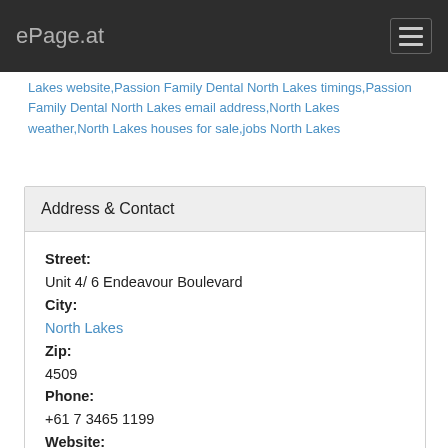ePage.at
Lakes website,Passion Family Dental North Lakes timings,Passion Family Dental North Lakes email address,North Lakes weather,North Lakes houses for sale,jobs North Lakes
Address & Contact
Street:
Unit 4/ 6 Endeavour Boulevard
City:
North Lakes
Zip:
4509
Phone:
+61 7 3465 1199
Website:
https://passionfamilydental.com.au/
Category:
Dentist & Dental Office